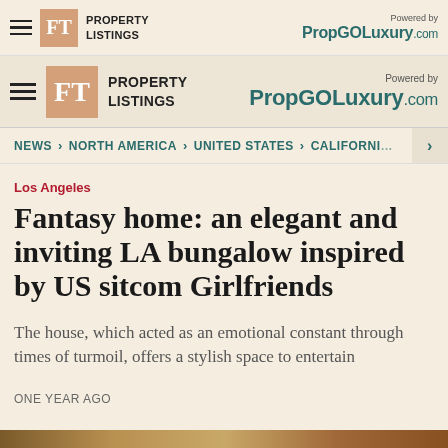FT PROPERTY LISTINGS — Powered by PropGOLuxury.com
FT PROPERTY LISTINGS — Powered by PropGOLuxury.com
NEWS > NORTH AMERICA > UNITED STATES > CALIFORNIA >
Los Angeles
Fantasy home: an elegant and inviting LA bungalow inspired by US sitcom Girlfriends
The house, which acted as an emotional constant through times of turmoil, offers a stylish space to entertain
ONE YEAR AGO